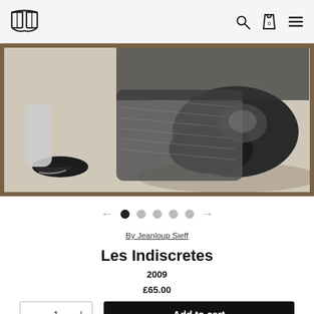Book store header with logo, search, cart (0), and menu icons
[Figure (photo): Black and white photograph of a person kneeling, showing legs and lower body in a textured skirt, with a foot wearing an anklet visible, displayed as a print on a wooden surface]
← ● ● ● ● ● →  (image carousel navigation)
By Jeanloup Sieff
Les Indiscretes
2009
£65.00
− 1 +
Add to cart